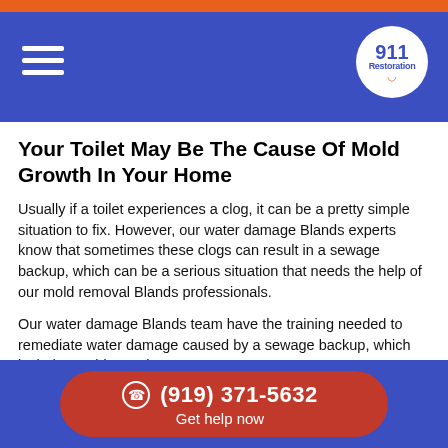911 Restoration
Your Toilet May Be The Cause Of Mold Growth In Your Home
Usually if a toilet experiences a clog, it can be a pretty simple situation to fix. However, our water damage Blands experts know that sometimes these clogs can result in a sewage backup, which can be a serious situation that needs the help of our mold removal Blands professionals.
Our water damage Blands team have the training needed to remediate water damage caused by a sewage backup, which includes mold growth.
Our mold removal Blands staff will use comprehensive equipment that allows our water damage Blands technicians to quickly clean up the black water, as well as sanitize and deodorize the affected area if
(919) 371-5632 Get help now